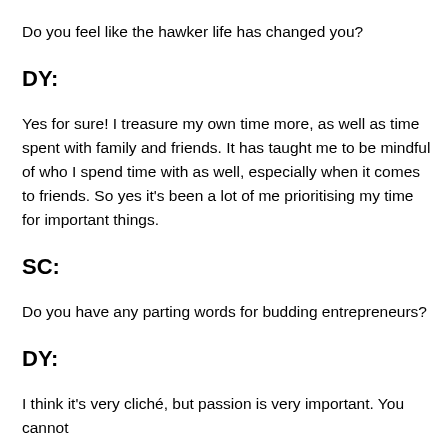Do you feel like the hawker life has changed you?
DY:
Yes for sure! I treasure my own time more, as well as time spent with family and friends. It has taught me to be mindful of who I spend time with as well, especially when it comes to friends. So yes it's been a lot of me prioritising my time for important things.
SC:
Do you have any parting words for budding entrepreneurs?
DY:
I think it's very cliché, but passion is very important. You cannot